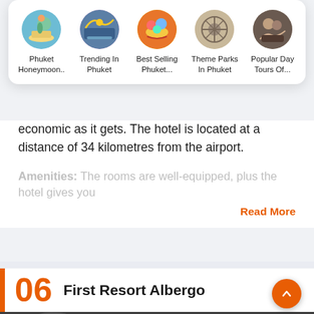[Figure (infographic): Navigation card showing 5 circular category thumbnails: Phuket Honeymoon.., Trending In Phuket, Best Selling Phuket..., Theme Parks In Phuket, Popular Day Tours Of...]
economic as it gets. The hotel is located at a distance of 34 kilometres from the airport.
Amenities: The rooms are well-equipped, plus the hotel gives you
Read More
06 First Resort Albergo
[Figure (illustration): Dark grey footer background with travel-themed outline icons: umbrella, bird, speech bubbles, cloud, compass, hot air balloon, camera, umbrella, anchor]